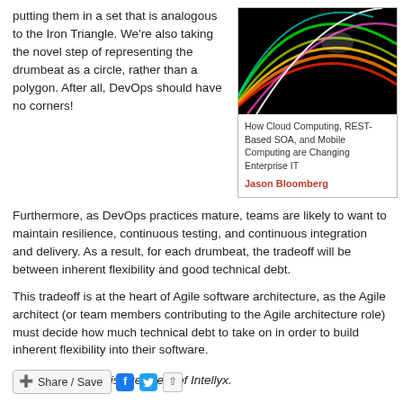putting them in a set that is analogous to the Iron Triangle. We're also taking the novel step of representing the drumbeat as a circle, rather than a polygon. After all, DevOps should have no corners!
[Figure (photo): Book cover: colorful arc light streaks on black background. Title: How Cloud Computing, REST-Based SOA, and Mobile Computing are Changing Enterprise IT. Author: Jason Bloomberg (in red).]
Furthermore, as DevOps practices mature, teams are likely to want to maintain resilience, continuous testing, and continuous integration and delivery. As a result, for each drumbeat, the tradeoff will be between inherent flexibility and good technical debt.
This tradeoff is at the heart of Agile software architecture, as the Agile architect (or team members contributing to the Agile architecture role) must decide how much technical debt to take on in order to build inherent flexibility into their software.
Jason Bloomberg is President of Intellyx.
[Figure (other): Share/Save social sharing button bar with Facebook and Twitter icons and a share arrow icon.]